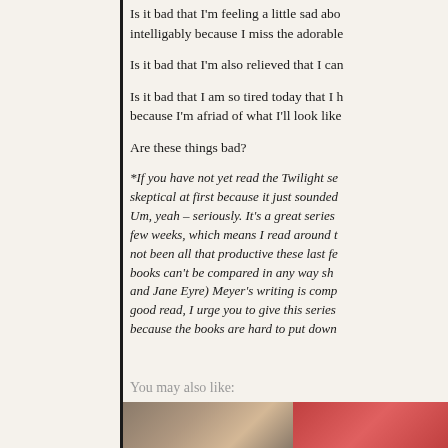Is it bad that I'm feeling a little sad abo... intelligably because I miss the adorable
Is it bad that I'm also relieved that I can...
Is it bad that I am so tired today that I h... because I'm afriad of what I'll look like
Are these things bad?
*If you have not yet read the Twilight se... skeptical at first because it just sounded... Um, yeah – seriously. It's a great series ... few weeks, which means I read around t... not been all that productive these last fe... books can't be compared in any way sh... and Jane Eyre) Meyer's writing is comp... good read, I urge you to give this series... because the books are hard to put down
You may also like:
[Figure (photo): Two book cover images at bottom of page]